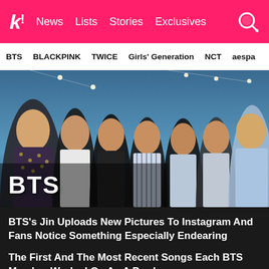k! News Lists Stories Exclusives
BTS BLACKPINK TWICE Girls' Generation NCT aespa
[Figure (photo): Group photo of BTS members standing together against a blue sky background with string lights. Text overlay reads 'BTS' in white bold font at the bottom left.]
BTS
BTS's Jin Uploads New Pictures To Instagram And Fans Notice Something Especially Endearing
The First And The Most Recent Songs Each BTS Member Worked On As A Producer
5 BTS Songs Whose Tunes Are Wildly Opposite To Their Lyrics